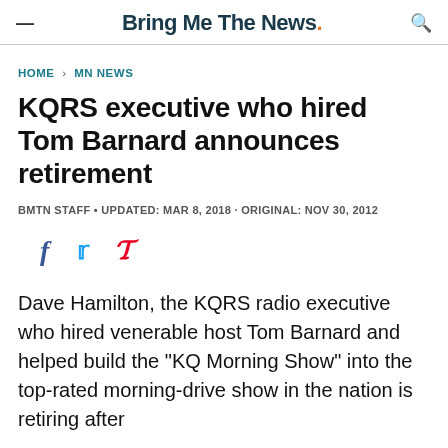Bring Me The News.
HOME > MN NEWS
KQRS executive who hired Tom Barnard announces retirement
BMTN STAFF • UPDATED: MAR 8, 2018 · ORIGINAL: NOV 30, 2012
[Figure (other): Social sharing icons for Facebook, Twitter, and Pinterest]
Dave Hamilton, the KQRS radio executive who hired venerable host Tom Barnard and helped build the "KQ Morning Show" into the top-rated morning-drive show in the nation is retiring after